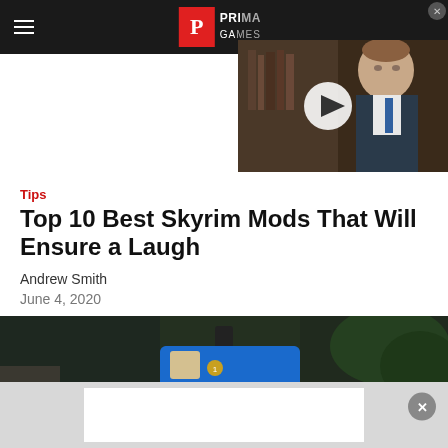Prima Games — navigation bar with logo and hamburger menu
[Figure (screenshot): Video thumbnail showing a 3D animated man in a suit and tie in a library setting, with a white play button overlay]
Tips
Top 10 Best Skyrim Mods That Will Ensure a Laugh
Andrew Smith
June 4, 2020
[Figure (screenshot): Screenshot from Skyrim mod showing Thomas the Tank Engine character model in a dark medieval stone environment]
[Figure (screenshot): Advertisement bar at the bottom of the page with a gray background and white center area, and an X close button]